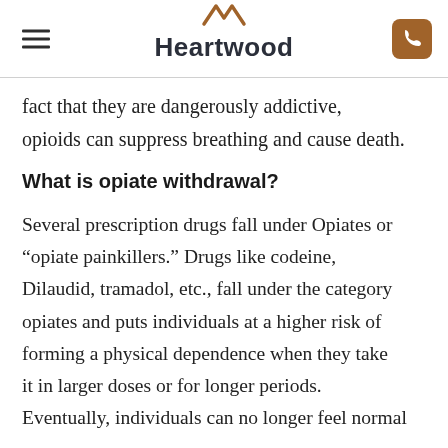Heartwood
fact that they are dangerously addictive, opioids can suppress breathing and cause death.
What is opiate withdrawal?
Several prescription drugs fall under Opiates or “opiate painkillers.” Drugs like codeine, Dilaudid, tramadol, etc., fall under the category opiates and puts individuals at a higher risk of forming a physical dependence when they take it in larger doses or for longer periods. Eventually, individuals can no longer feel normal